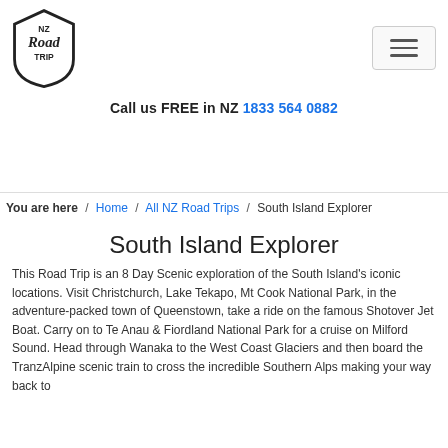[Figure (logo): NZ Road Trip shield logo with text 'NZ Road Trip']
Call us FREE in NZ 1833 564 0882
You are here / Home / All NZ Road Trips / South Island Explorer
South Island Explorer
This Road Trip is an 8 Day Scenic exploration of the South Island's iconic locations. Visit Christchurch, Lake Tekapo, Mt Cook National Park, in the adventure-packed town of Queenstown, take a ride on the famous Shotover Jet Boat. Carry on to Te Anau & Fiordland National Park for a cruise on Milford Sound. Head through Wanaka to the West Coast Glaciers and then board the TranzAlpine scenic train to cross the incredible Southern Alps making your way back to